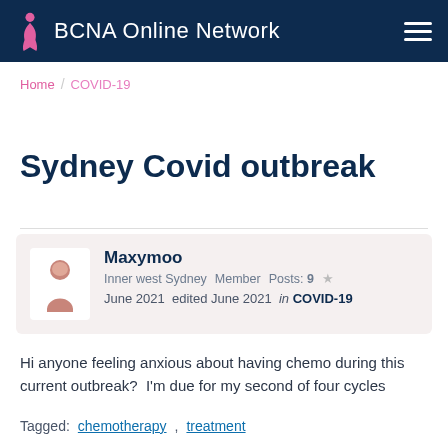BCNA Online Network
Home / COVID-19
Sydney Covid outbreak
Maxymoo
Inner west Sydney   Member   Posts: 9   ★
June 2021   edited June 2021   in   COVID-19
Hi anyone feeling anxious about having chemo during this current outbreak?  I'm due for my second of four cycles
Tagged:   chemotherapy, treatment